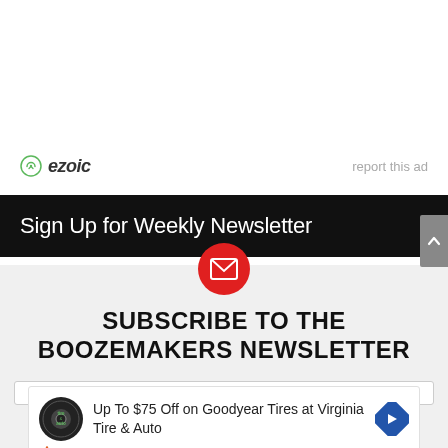[Figure (logo): Ezoic logo with green shield icon and text 'ezoic']
report this ad
Sign Up for Weekly Newsletter
SUBSCRIBE TO THE BOOZEMAKERS NEWSLETTER
[Figure (infographic): Ad: Up To $75 Off on Goodyear Tires at Virginia Tire & Auto with tire logo and navigation arrow icon]